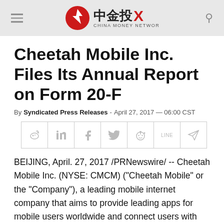China Money Network
Cheetah Mobile Inc. Files Its Annual Report on Form 20-F
By Syndicated Press Releases - April 27, 2017 — 06:00 CST
[Figure (infographic): Social share buttons row: Weibo, LinkedIn, Facebook, Twitter, Reddit, LINE, Email/send]
BEIJING, April. 27, 2017 /PRNewswire/ -- Cheetah Mobile Inc. (NYSE: CMCM) ("Cheetah Mobile" or the "Company"), a leading mobile internet company that aims to provide leading apps for mobile users worldwide and connect users with